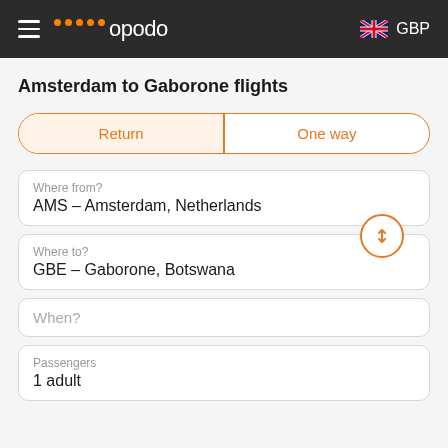opodo  GBP
Amsterdam to Gaborone flights
Return | One way
Where from?
AMS – Amsterdam, Netherlands
Where to?
GBE – Gaborone, Botswana
When?
Passengers
1 adult